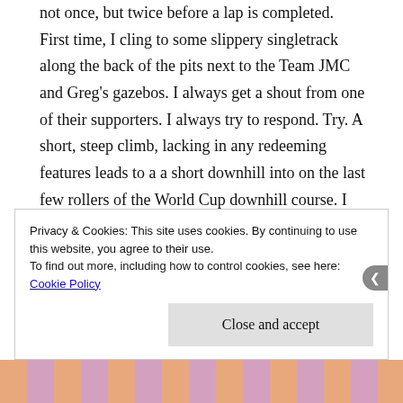not once, but twice before a lap is completed. First time, I cling to some slippery singletrack along the back of the pits next to the Team JMC and Greg's gazebos. I always get a shout from one of their supporters. I always try to respond. Try. A short, steep climb, lacking in any redeeming features leads to a a short downhill into on the last few rollers of the World Cup downhill course. I can't help but drop off the last of them, requiring a quick adjustment and a knee out to squeeze round a tight corner at the bottom. One last climb. But what a climb it is. Up a blue descent, up
Privacy & Cookies: This site uses cookies. By continuing to use this website, you agree to their use.
To find out more, including how to control cookies, see here: Cookie Policy